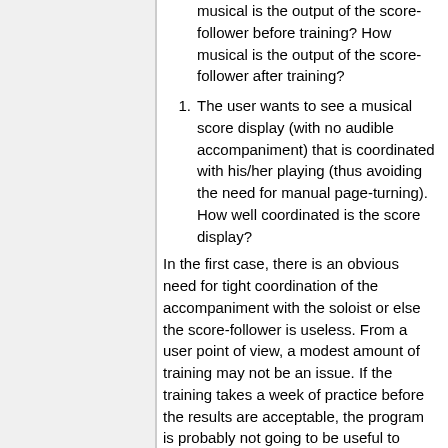musical is the output of the score-follower before training? How musical is the output of the score-follower after training?
1. The user wants to see a musical score display (with no audible accompaniment) that is coordinated with his/her playing (thus avoiding the need for manual page-turning). How well coordinated is the score display?
In the first case, there is an obvious need for tight coordination of the accompaniment with the soloist or else the score-follower is useless. From a user point of view, a modest amount of training may not be an issue. If the training takes a week of practice before the results are acceptable, the program is probably not going to be useful to anyone.
In the second case, if the user can always see many measures of music at one time (including the current measure), he/she may not care that the score-follower has a small amount of latency because that latency does not interfer...